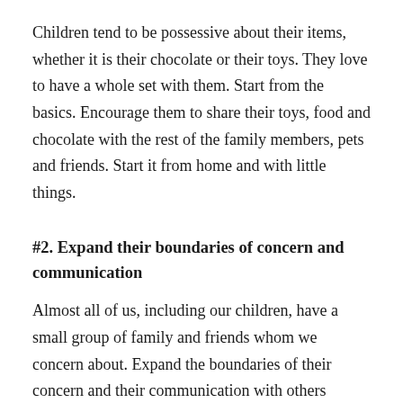Children tend to be possessive about their items, whether it is their chocolate or their toys. They love to have a whole set with them. Start from the basics. Encourage them to share their toys, food and chocolate with the rest of the family members, pets and friends. Start it from home and with little things.
#2. Expand their boundaries of concern and communication
Almost all of us, including our children, have a small group of family and friends whom we concern about. Expand the boundaries of their concern and their communication with others outside the group. Help your children in learning to care about someone outside their group, for example, talking to a new kid in class or helping a stranger who is unable to cross the road. Such small acts will make them